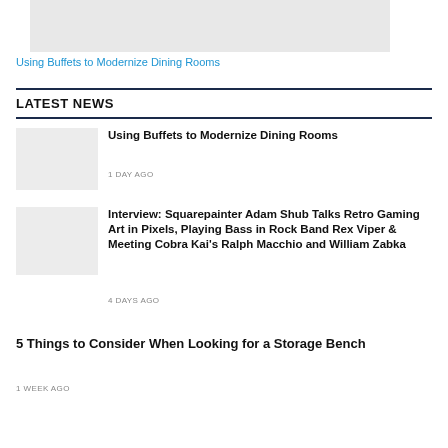[Figure (photo): Partial image of a white buffet/sideboard furniture piece with dishes visible on shelves, cropped at top]
Using Buffets to Modernize Dining Rooms
LATEST NEWS
[Figure (photo): Thumbnail image placeholder for buffet article]
Using Buffets to Modernize Dining Rooms
1 DAY AGO
[Figure (photo): Thumbnail image placeholder for interview article]
Interview: Squarepainter Adam Shub Talks Retro Gaming Art in Pixels, Playing Bass in Rock Band Rex Viper & Meeting Cobra Kai's Ralph Macchio and William Zabka
4 DAYS AGO
5 Things to Consider When Looking for a Storage Bench
1 WEEK AGO